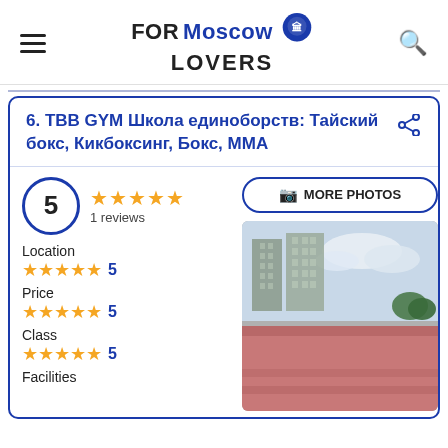FORMoscow LOVERS
6. TBB GYM Школа единоборств: Тайский бокс, Кикбоксинг, Бокс, MMA
5 ★★★★★ 1 reviews
📷 MORE PHOTOS
Location ★★★★★ 5
Price ★★★★★ 5
Class ★★★★★ 5
Facilities
[Figure (photo): Street view photo showing concrete apartment buildings in background with a pink/red wall in foreground]